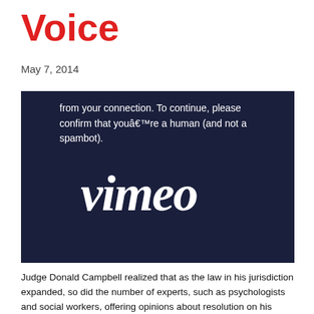Voice
May 7, 2014
[Figure (screenshot): Vimeo CAPTCHA screen with dark navy background. Top portion shows text: 'from your connection. To continue, please confirm that youâ€™re a human (and not a spambot).' Below is the Vimeo logo in white on dark background.]
Judge Donald Campbell realized that as the law in his jurisdiction expanded, so did the number of experts, such as psychologists and social workers, offering opinions about resolution on his Dependency and Neglect (child abuse) cases. But he noticed that even with all of these professionals around, it was nobody's